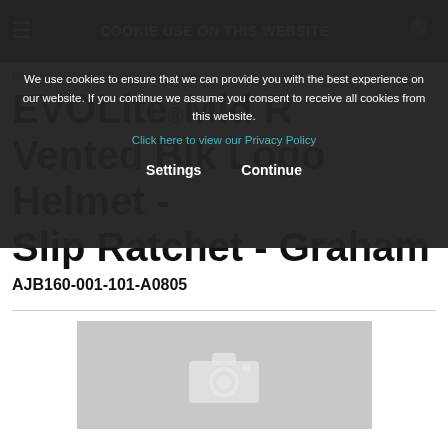COOKIE USE ON THIS WEBSITE
We use cookies to ensure that we can provide you with the best experience on our website. If you continue we assume you consent to receive all cookies from this website.
Click here to view our Privacy Policy
Settings   Continue
EVOLite Mid R Vented Blk Logo Helmet - Slip Ratchet - Graham
AJB160-001-101-A0805
[Figure (photo): Product image placeholder with camera icon on grey background]